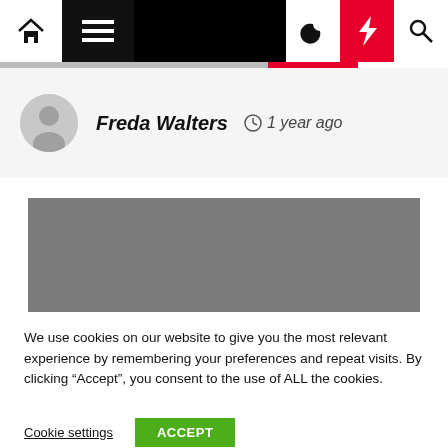[Figure (screenshot): Website navigation bar with home icon, hamburger menu, dark mode moon icon, lightning bolt icon (red background), and search icon]
Freda Walters  🕐 1 year ago
[Figure (photo): Gray placeholder image rectangle]
We use cookies on our website to give you the most relevant experience by remembering your preferences and repeat visits. By clicking "Accept", you consent to the use of ALL the cookies.
Cookie settings
ACCEPT